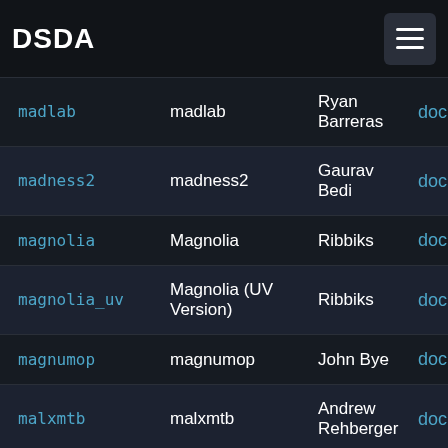DSDA
| ID | Name | Author | Link |
| --- | --- | --- | --- |
| madlab | madlab | Ryan Barreras | doc |
| madness2 | madness2 | Gaurav Bedi | doc |
| magnolia | Magnolia | Ribbiks | doc |
| magnolia_uv | Magnolia (UV Version) | Ribbiks | doc |
| magnumop | magnumop | John Bye | doc |
| malxmtb | malxmtb | Andrew Rehberger | doc |
| manc | manc | Naveed | doc |
| manifest | manifest | Chris Elly & Jonathan Elly | doc |
| manolaik | manolaik | Nicolas Monti | doc |